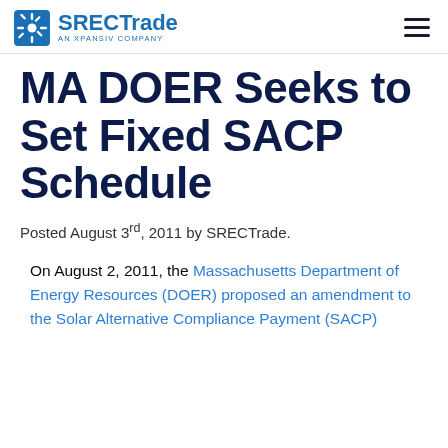SRECTrade — AN XPANSIV COMPANY
MA DOER Seeks to Set Fixed SACP Schedule
Posted August 3rd, 2011 by SRECTrade.
On August 2, 2011, the Massachusetts Department of Energy Resources (DOER) proposed an amendment to the Solar Alternative Compliance Payment (SACP)